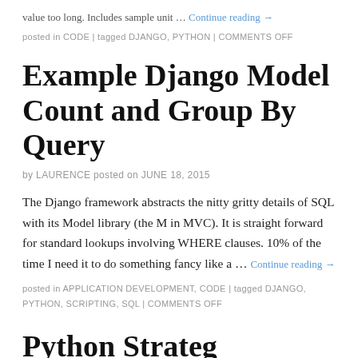value too long. Includes sample unit … Continue reading →
posted in CODE | tagged DJANGO, PYTHON | COMMENTS OFF
Example Django Model Count and Group By Query
by LAURENCE posted on JUNE 18, 2015
The Django framework abstracts the nitty gritty details of SQL with its Model library (the M in MVC). It is straight forward for standard lookups involving WHERE clauses. 10% of the time I need it to do something fancy like a … Continue reading →
posted in APPLICATION DEVELOPMENT, CODE | tagged DJANGO, PYTHON, SCRIPTING, SQL | COMMENTS OFF
Python Strategy Patt…